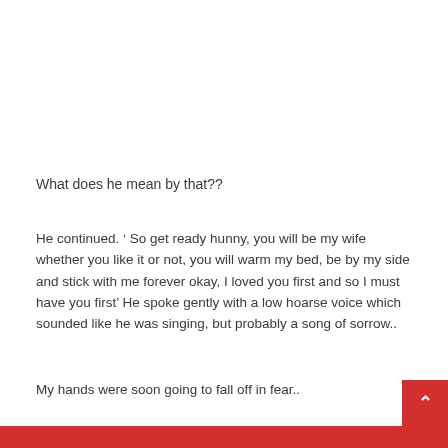What does he mean by that??
He continued. ‘ So get ready hunny, you will be my wife whether you like it or not, you will warm my bed, be by my side and stick with me forever okay, I loved you first and so I must have you first’ He spoke gently with a low hoarse voice which sounded like he was singing, but probably a song of sorrow..
My hands were soon going to fall off in fear..
Who are you Prince Alawas??!!